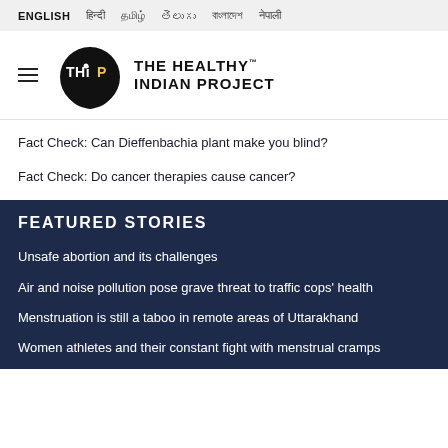ENGLISH | हिन्दी | தமிழ் | తెలుగు | বাংলাদেশ | नेपाली
[Figure (logo): THiP - The Healthy Indian Project logo: black teardrop shape with THiP text in white, followed by bold text THE HEALTHY INDIAN PROJECT]
Fact Check: Can Dieffenbachia plant make you blind?
Fact Check: Do cancer therapies cause cancer?
FEATURED STORIES
Unsafe abortion and its challenges
Air and noise pollution pose grave threat to traffic cops' health
Menstruation is still a taboo in remote areas of Uttarakhand
Women athletes and their constant fight with menstrual cramps